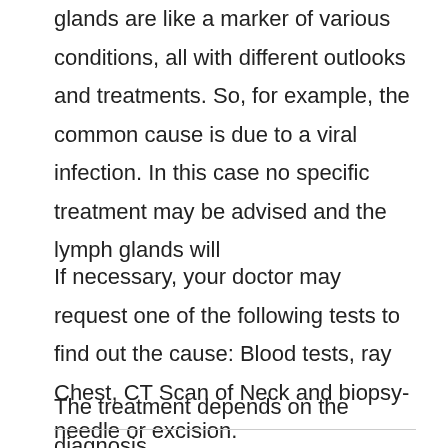glands are like a marker of various conditions, all with different outlooks and treatments. So, for example, the common cause is due to a viral infection. In this case no specific treatment may be advised and the lymph glands will
If necessary, your doctor may request one of the following tests to find out the cause: Blood tests, ray Chest, CT Scan of Neck and biopsy-needle or excision.
The treatment depends on the diagnosis.